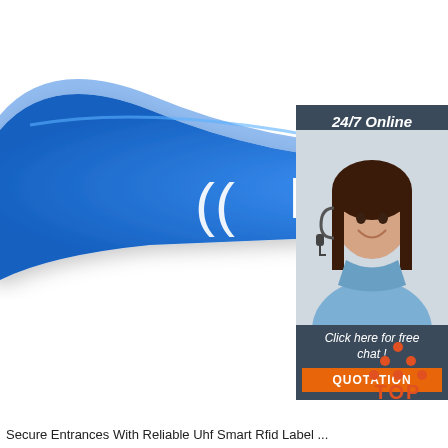[Figure (photo): Blue RFID silicone wristband with white RFID text and radio wave symbols, displayed on white background. A customer support chat widget is overlaid on the right side showing a woman with a headset, labeled '24/7 Online' and 'Click here for free chat!' with an orange QUOTATION button.]
[Figure (logo): TOP logo with red dots arranged in a triangle above the word TOP in red]
Secure Entrances With Reliable Uhf Smart Rfid Label ...